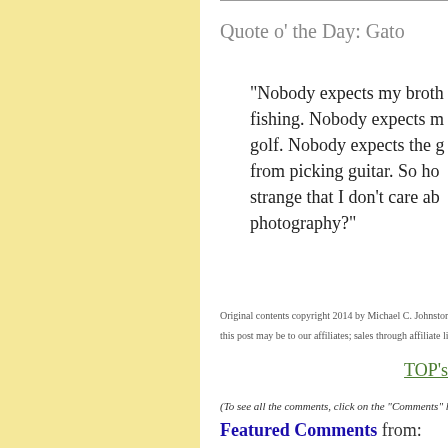Quote o' the Day: Gato
"Nobody expects my broth fishing. Nobody expects m golf. Nobody expects the g from picking guitar. So ho strange that I don't care ab photography?"
Original contents copyright 2014 by Michael C. Johnston
this post may be to our affiliates; sales through affiliate lin
TOP's
(To see all the comments, click on the "Comments" lin
Featured Comments from: